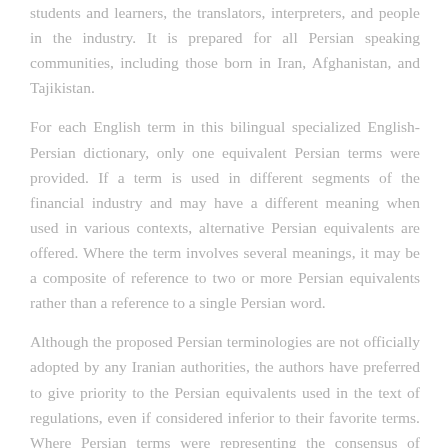students and learners, the translators, interpreters, and people in the industry. It is prepared for all Persian speaking communities, including those born in Iran, Afghanistan, and Tajikistan.
For each English term in this bilingual specialized English-Persian dictionary, only one equivalent Persian terms were provided. If a term is used in different segments of the financial industry and may have a different meaning when used in various contexts, alternative Persian equivalents are offered. Where the term involves several meanings, it may be a composite of reference to two or more Persian equivalents rather than a reference to a single Persian word.
Although the proposed Persian terminologies are not officially adopted by any Iranian authorities, the authors have preferred to give priority to the Persian equivalents used in the text of regulations, even if considered inferior to their favorite terms. Where Persian terms were representing the consensus of industry professionals, the authors have applied them with almost no exception.